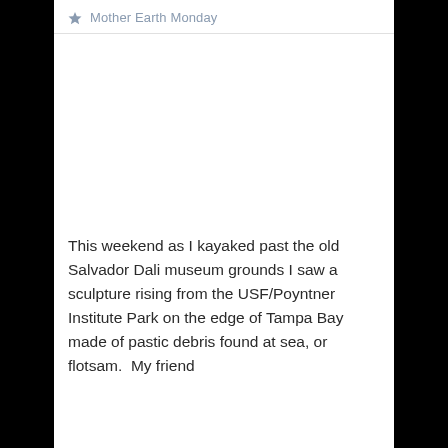Mother Earth Monday
[Figure (photo): White/blank image area below the header, representing a photo placeholder]
This weekend as I kayaked past the old Salvador Dali museum grounds I saw a sculpture rising from the USF/Poyntner Institute Park on the edge of Tampa Bay made of pastic debris found at sea, or flotsam.  My friend